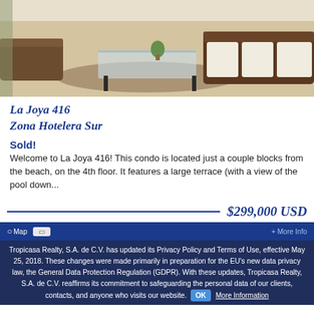[Figure (photo): Interior photo of a luxury condo living room with glass coffee table, sectional sofa, and tiled floor]
La Joya 416
Zona Hotelera Sur
Sold!
Welcome to La Joya 416! This condo is located just a couple blocks from the beach, on the 4th floor. It features a large terrace (with a view of the pool down...
$299,000 USD
Tropicasa Realty, S.A. de C.V. has updated its Privacy Policy and Terms of Use, effective May 25, 2018. These changes were made primarily in preparation for the EU's new data privacy law, the General Data Protection Regulation (GDPR). With these updates, Tropicasa Realty, S.A. de C.V. reaffirms its commitment to safeguarding the personal data of our clients, contacts, and anyone who visits our website.